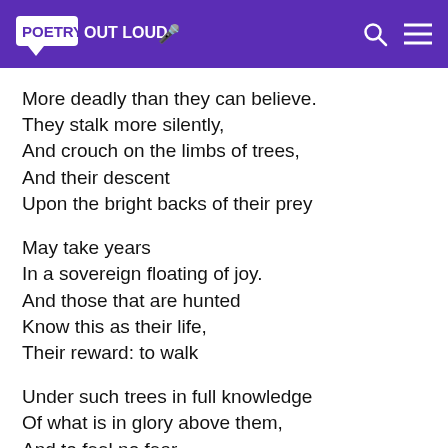POETRY OUT LOUD
More deadly than they can believe.
They stalk more silently,
And crouch on the limbs of trees,
And their descent
Upon the bright backs of their prey

May take years
In a sovereign floating of joy.
And those that are hunted
Know this as their life,
Their reward: to walk

Under such trees in full knowledge
Of what is in glory above them,
And to feel no fear,